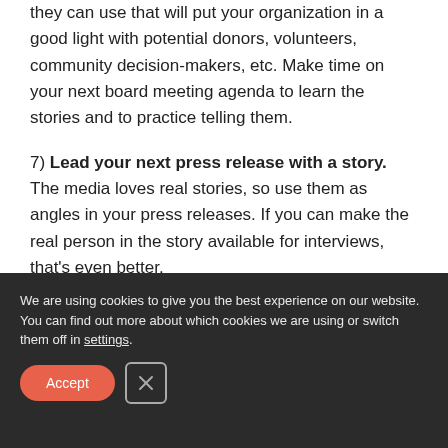they can use that will put your organization in a good light with potential donors, volunteers, community decision-makers, etc. Make time on your next board meeting agenda to learn the stories and to practice telling them.
7) Lead your next press release with a story. The media loves real stories, so use them as angles in your press releases. If you can make the real person in the story available for interviews, that's even better.
We are using cookies to give you the best experience on our website.
You can find out more about which cookies we are using or switch them off in settings.